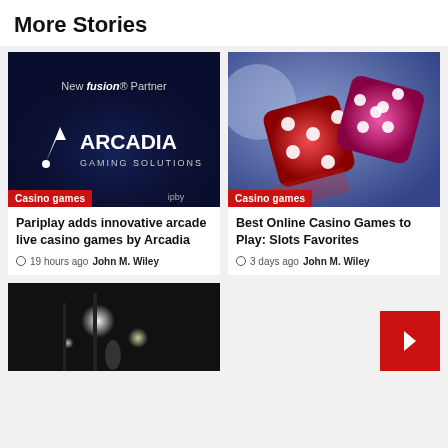More Stories
[Figure (photo): Arcadia Gaming Solutions advertisement on dark navy background with text 'New fusion Partner ARCADIA GAMING SOLUTIONS' and a Casino games badge with 'ipby' branding]
Casino games
Pariplay adds innovative arcade live casino games by Arcadia
19 hours ago John M. Wiley
[Figure (photo): Two red crystal dice on a reflective blue surface with Casino games badge]
Casino games
Best Online Casino Games to Play: Slots Favorites
3 days ago John M. Wiley
[Figure (photo): Dark black and white image of a street scene with bright lights]
[Figure (other): Red square button with white arrow/chevron icon]